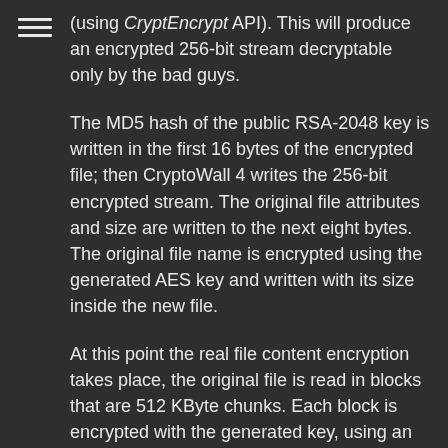(using CryptEncrypt API). This will produce an encrypted 256-bit stream decryptable only by the bad guys.
The MD5 hash of the public RSA-2048 key is written in the first 16 bytes of the encrypted file; then CryptoWall 4 writes the 256-bit encrypted stream. The original file attributes and size are written to the next eight bytes. The original file name is encrypted using the generated AES key and written with its size inside the new file.
At this point the real file content encryption takes place, the original file is read in blocks that are 512 KByte chunks. Each block is encrypted with the generated key, using an AES-CBC 256 algorithm, and written directly to the new file (together with the block size in the first four bytes).
Once completed, all the CryptoWall 4 resources are